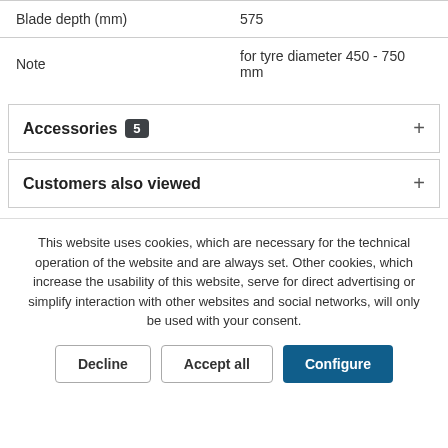| Blade depth (mm) | 575 |
| Note | for tyre diameter 450 - 750 mm |
Accessories 5
Customers also viewed
This website uses cookies, which are necessary for the technical operation of the website and are always set. Other cookies, which increase the usability of this website, serve for direct advertising or simplify interaction with other websites and social networks, will only be used with your consent.
Decline | Accept all | Configure